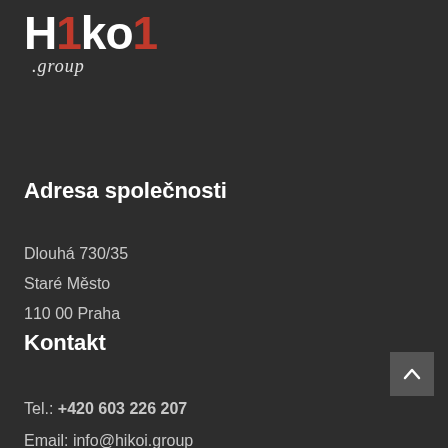[Figure (logo): Hikoi.group logo — white bold text 'Hikoi' with red '1' characters, and italic '.group' subtitle below]
Adresa společnosti
Dlouhá 730/35
Staré Město
110 00 Praha
Kontakt
Tel.: +420 603 226 207
Email: info@hikoi.group